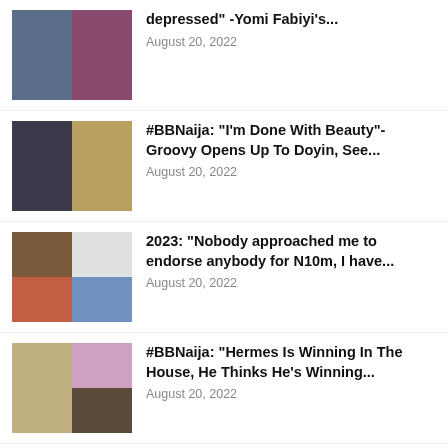depressed" -Yomi Fabiyi's...
August 20, 2022
#BBNaija: "I'm Done With Beauty"- Groovy Opens Up To Doyin, See...
August 20, 2022
2023: "Nobody approached me to endorse anybody for N10m, I have...
August 20, 2022
#BBNaija: "Hermes Is Winning In The House, He Thinks He's Winning...
August 20, 2022
Don't be pressured into marriage because your friends are getting married'...
August 20, 2022